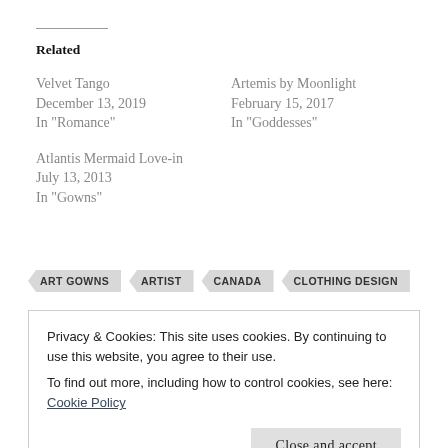Related
Velvet Tango
December 13, 2019
In "Romance"
Artemis by Moonlight
February 15, 2017
In "Goddesses"
Atlantis Mermaid Love-in
July 13, 2013
In "Gowns"
ART GOWNS  ARTIST  CANADA  CLOTHING DESIGN
Privacy & Cookies: This site uses cookies. By continuing to use this website, you agree to their use.
To find out more, including how to control cookies, see here: Cookie Policy
Close and accept